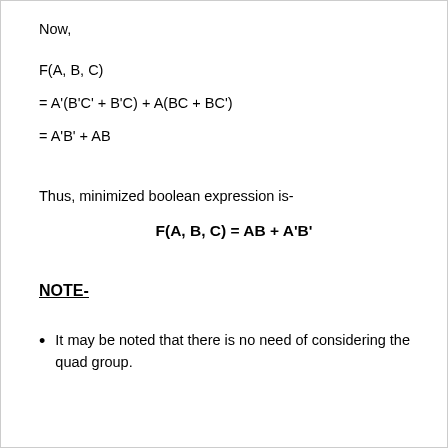Now,
Thus, minimized boolean expression is-
NOTE-
It may be noted that there is no need of considering the quad group.